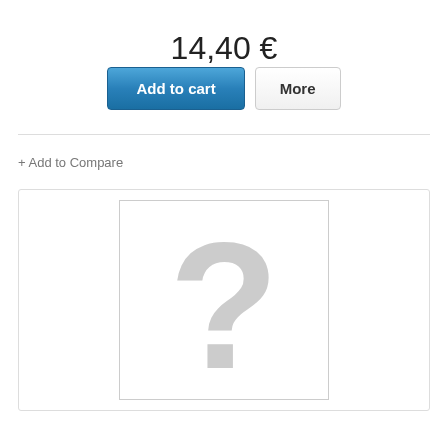14,40 €
Add to cart
More
+ Add to Compare
[Figure (illustration): Placeholder image box with a large grey question mark indicating no product image is available]